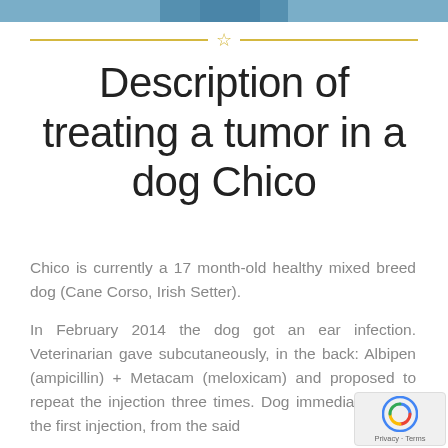[Figure (photo): Top strip showing a partial photo of a dog, cropped at the top of the page]
Description of treating a tumor in a dog Chico
Chico is currently a 17 month-old healthy mixed breed dog (Cane Corso, Irish Setter).
In February 2014 the dog got an ear infection. Veterinarian gave subcutaneously, in the back: Albipen (ampicillin) + Metacam (meloxicam) and proposed to repeat the injection three times. Dog immediately after the first injection, from the said